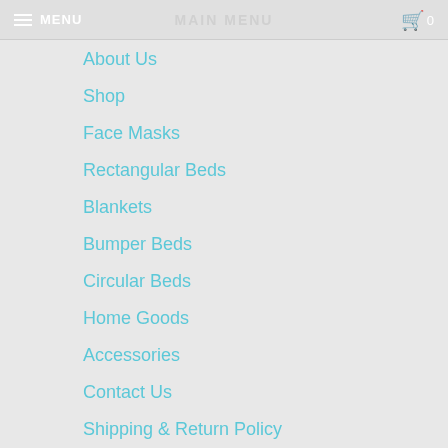MENU | MAIN MENU | 0
About Us
Shop
Face Masks
Rectangular Beds
Blankets
Bumper Beds
Circular Beds
Home Goods
Accessories
Contact Us
Shipping & Return Policy